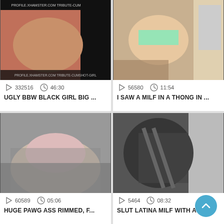[Figure (photo): Video thumbnail showing explicit adult content with watermark text PROFILE.XHAMSTER.COM TRIBUTE-CUMSHOT-GIRL]
332516   46:30
UGLY BBW BLACK GIRL BIG ...
[Figure (photo): Video thumbnail showing adult content in kitchen]
56580   11:54
I SAW A MILF IN A THONG IN ...
[Figure (photo): Video thumbnail showing adult content on couch]
60589   05:06
HUGE PAWG ASS RIMMED, F...
[Figure (photo): Video thumbnail showing adult content in lingerie]
5464   08:32
SLUT LATINA MILF WITH A BI...